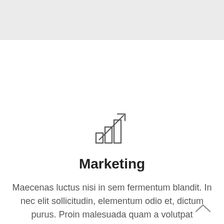[Figure (illustration): Gray header bar at top of page]
[Figure (illustration): Bar chart with upward arrow icon representing marketing/growth]
Marketing
Maecenas luctus nisi in sem fermentum blandit. In nec elit sollicitudin, elementum odio et, dictum purus. Proin malesuada quam a volutpat
[Figure (illustration): Chevron/caret up arrow navigation icon in bottom right corner]